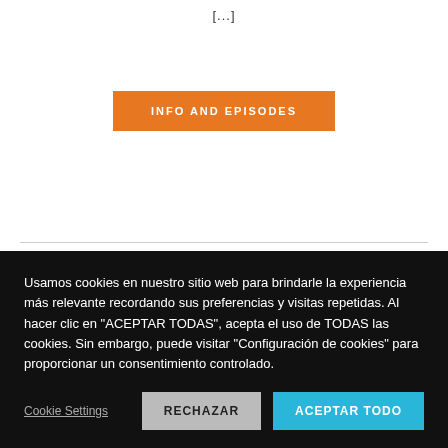[...]
[Figure (other): Orange button labeled INFO AND EPISODES]
PRÓXIMOS PROGRAMAS
FRANJA INFORMATIVA
[Figure (photo): Thumbnail image preview]
Usamos cookies en nuestro sitio web para brindarle la experiencia más relevante recordando sus preferencias y visitas repetidas. Al hacer clic en "ACEPTAR TODAS", acepta el uso de TODAS las cookies. Sin embargo, puede visitar "Configuración de cookies" para proporcionar un consentimiento controlado.
Cookie Settings | RECHAZAR | ACEPTAR TODO